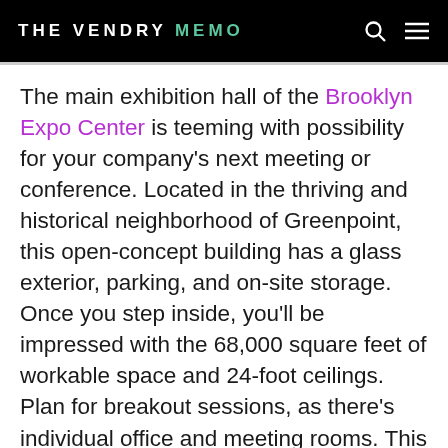THE VENDRY MEMO
The main exhibition hall of the Brooklyn Expo Center is teeming with possibility for your company's next meeting or conference. Located in the thriving and historical neighborhood of Greenpoint, this open-concept building has a glass exterior, parking, and on-site storage. Once you step inside, you'll be impressed with the 68,000 square feet of workable space and 24-foot ceilings. Plan for breakout sessions, as there's individual office and meeting rooms. This large amount of square footage with great amenities is